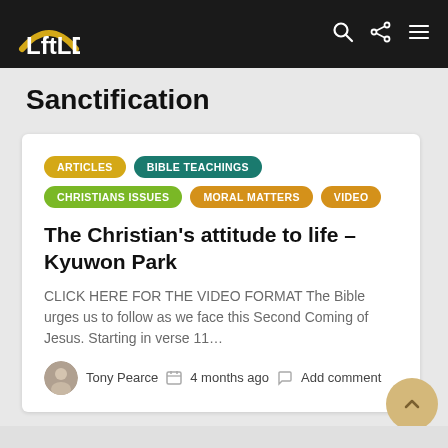LftLD
Sanctification
ARTICLES
BIBLE TEACHINGS
CHRISTIANS ISSUES
MORAL MATTERS
VIDEO
The Christian’s attitude to life – Kyuwon Park
CLICK HERE FOR THE VIDEO FORMAT The Bible urges us to follow as we face this Second Coming of Jesus. Starting in verse 11…
Tony Pearce  4 months ago  Add comment